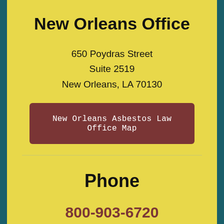New Orleans Office
650 Poydras Street
Suite 2519
New Orleans, LA 70130
New Orleans Asbestos Law Office Map
Phone
800-903-6720
504-305-2375